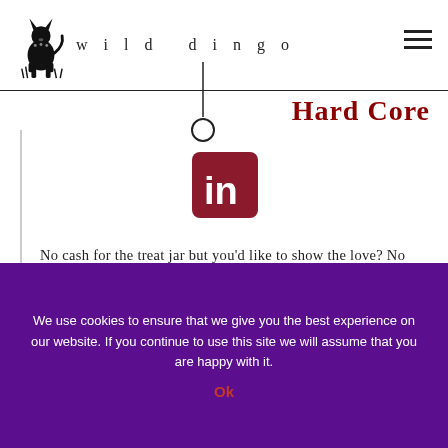[Figure (logo): Wild Dingo logo: silhouette of a sitting dog with 'wild dingo' text in spaced serif letters, with a leash graphic dropping from the text]
Hard Core
[Figure (logo): LinkedIn square icon in dark red/maroon with white 'in' text]
No cash for the treat jar but you'd like to show the love? No problem! Connect with me
We use cookies to ensure that we give you the best experience on our website. If you continue to use this site we will assume that you are happy with it.
Ok